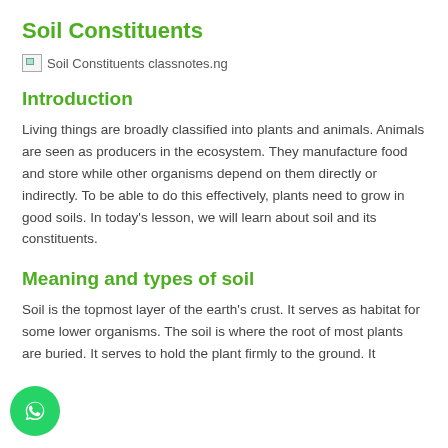Soil Constituents
[Figure (photo): Broken image placeholder labeled 'Soil Constituents classnotes.ng']
Introduction
Living things are broadly classified into plants and animals. Animals are seen as producers in the ecosystem. They manufacture food and store while other organisms depend on them directly or indirectly. To be able to do this effectively, plants need to grow in good soils. In today’s lesson, we will learn about soil and its constituents.
Meaning and types of soil
Soil is the topmost layer of the earth’s crust. It serves as habitat for some lower organisms. The soil is where the root of most plants are buried. It serves to hold the plant firmly to the ground. It